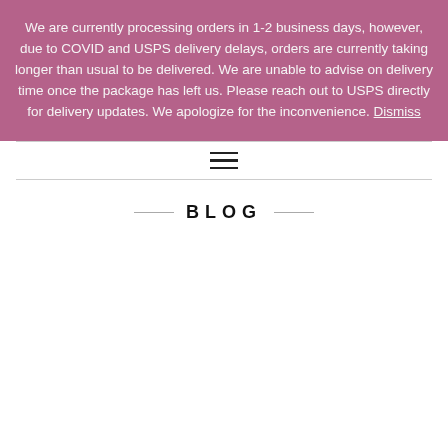We are currently processing orders in 1-2 business days, however, due to COVID and USPS delivery delays, orders are currently taking longer than usual to be delivered. We are unable to advise on delivery time once the package has left us. Please reach out to USPS directly for delivery updates. We apologize for the inconvenience. Dismiss
[Figure (other): Hamburger menu icon (three horizontal lines)]
BLOG